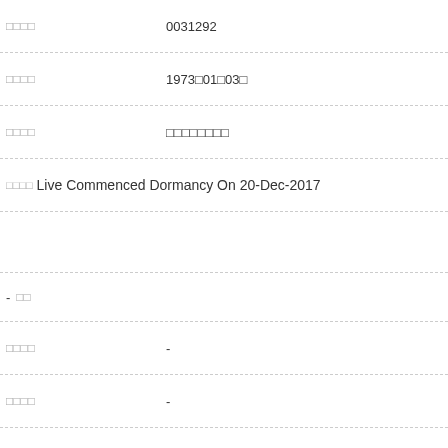□□□□: 0031292
□□□□: 1973□01□03□
□□□□: □□□□□□□□
□□□□ Live Commenced Dormancy On 20-Dec-2017
- □□
□□□□: -
□□□□: -
□□□□□: □
□□□□: -